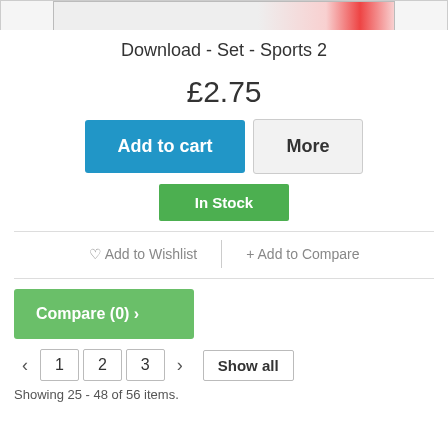[Figure (photo): Product image strip for Download - Set - Sports 2]
Download - Set - Sports 2
£2.75
Add to cart
More
In Stock
♡ Add to Wishlist
+ Add to Compare
Compare (0) ›
‹  1  2  3  ›  Show all
Showing 25 - 48 of 56 items.